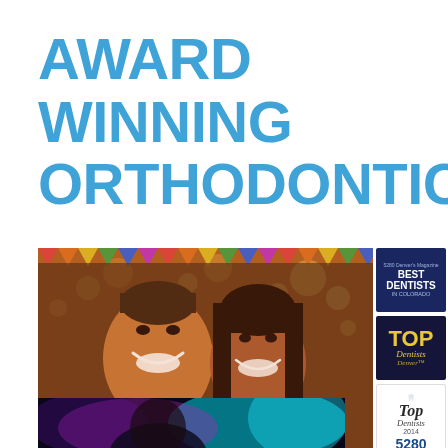AWARD WINNING ORTHODONTICS
[Figure (photo): Smiling couple at an outdoor event with colorful bunting lights in the background, alongside three award badges: Best Dentists in Colorado (5280 magazine), Top Dentists Denver, and Top Dentists 2014 5280]
[Figure (photo): Partial photo of a person with colorful neon background, partially visible at bottom of page]